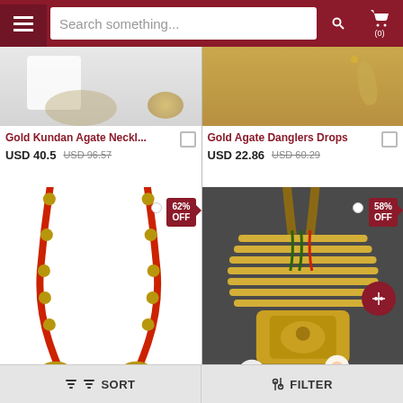Search something...
[Figure (photo): Partial product image of Gold Kundan Agate Necklace on white background]
[Figure (photo): Partial product image of Gold Agate Danglers Drops on golden background]
Gold Kundan Agate Neckl... USD 40.5 USD 96.57
Gold Agate Danglers Drops USD 22.86 USD 60.29
[Figure (photo): Red beaded necklace with jhumka earrings set, 62% OFF discount tag]
[Figure (photo): Gold multi-strand necklace set with floral pendant, 58% OFF discount tag]
SORT   FILTER